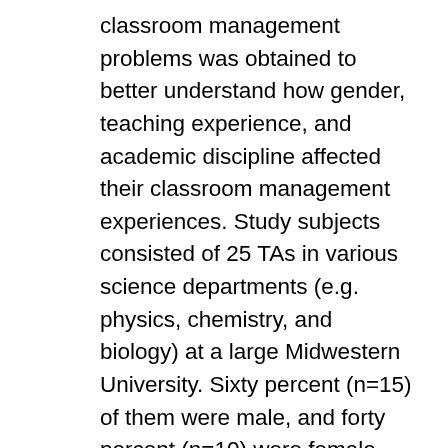classroom management problems was obtained to better understand how gender, teaching experience, and academic discipline affected their classroom management experiences. Study subjects consisted of 25 TAs in various science departments (e.g. physics, chemistry, and biology) at a large Midwestern University. Sixty percent (n=15) of them were male, and forty percent (n=10) were female. Regarding subjects' teaching experience with undergraduate level students, twenty percent (n=5) of them possessed three years or more teaching experience, forty percent (n=10) had teaching experience between one and three years, and the other forty percent (n=10) had a teaching experience of one year at the time of the study. An Email survey was used for data collection from 125 graduate TAs in various science departments. TAs responded to ten challenging student behaviors in the classroom that were developed from DiGiulio's